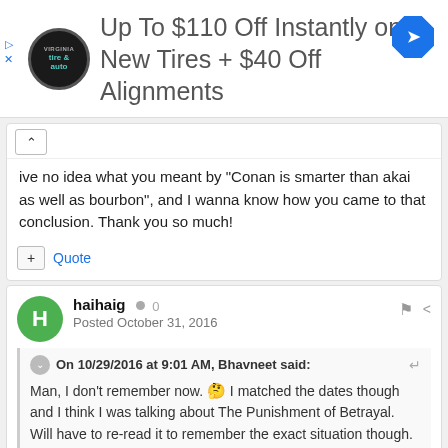[Figure (screenshot): Advertisement banner for Virginia Tire & Auto: 'Up To $110 Off Instantly on New Tires + $40 Off Alignments' with logo and navigation arrow icon]
ive no idea what you meant by "Conan is smarter than akai as well as bourbon", and I wanna know how you came to that conclusion. Thank you so much!
Quote
haihaig  0
Posted October 31, 2016
On 10/29/2016 at 9:01 AM, Bhavneet said:
Man, I don't remember now. 🤔 I matched the dates though and I think I was talking about The Punishment of Betrayal. Will have to re-read it to remember the exact situation though.
Hi, have you re-read the file? Could you explain to me how its obvious